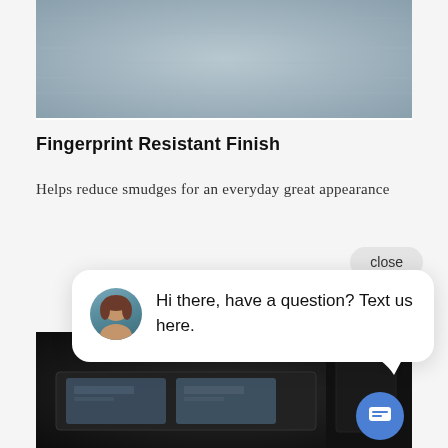[Figure (photo): Two side-by-side close-up photos of a metallic stainless steel surface. The left panel shows a visible smudge/fingerprint mark on brushed metal. The right panel shows the same metal surface without smudges, appearing cleaner.]
Fingerprint Resistant Finish
Helps reduce smudges for an everyday great appearance
close
Hi there, have a question? Text us here.
[Figure (photo): Close-up photo of a dark car interior showing a storage compartment or console area with what appears to be a tablet or display device inside.]